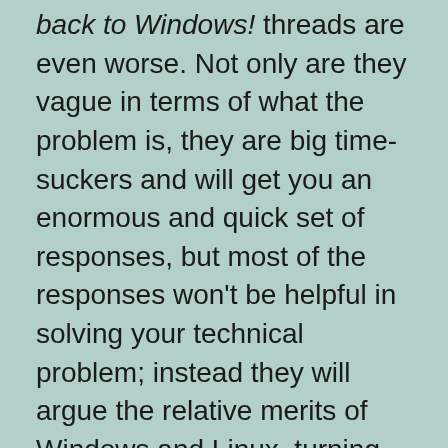back to Windows! threads are even worse. Not only are they vague in terms of what the problem is, they are big time-suckers and will get you an enormous and quick set of responses, but most of the responses won't be helpful in solving your technical problem; instead they will argue the relative merits of Windows and Linux, turning into a huge flamewar.

Your best bet is a thread title like Audacity will record but won't play. Something about a sample rate? Those users who know anything about solving sound problems will know to click